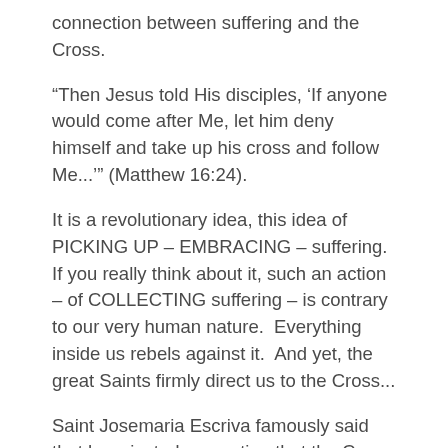connection between suffering and the Cross.
“Then Jesus told His disciples, ‘If anyone would come after Me, let him deny himself and take up his cross and follow Me...’” (Matthew 16:24).
It is a revolutionary idea, this idea of PICKING UP – EMBRACING – suffering.  If you really think about it, such an action – of COLLECTING suffering – is contrary to our very human nature.  Everything inside us rebels against it.  And yet, the great Saints firmly direct us to the Cross...
Saint Josemaria Escriva famously said that he rejected any notion that the Cross